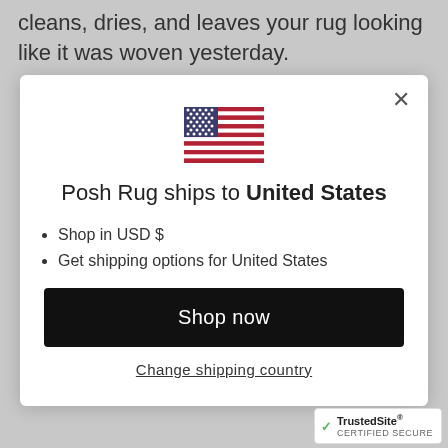cleans, dries, and leaves your rug looking like it was woven yesterday.
[Figure (illustration): US flag emoji/icon shown in center of modal]
Posh Rug ships to United States
Shop in USD $
Get shipping options for United States
Shop now
Change shipping country
[Figure (logo): TrustedSite CERTIFIED SECURE badge in bottom right corner]